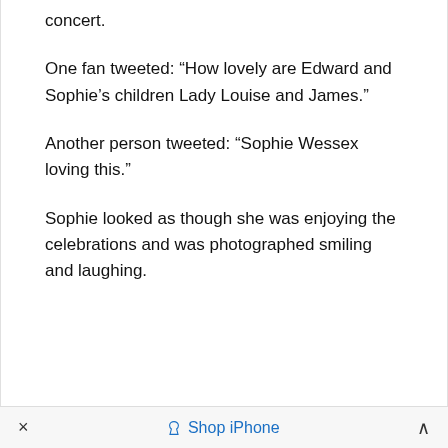concert.
One fan tweeted: “How lovely are Edward and Sophie’s children Lady Louise and James.”
Another person tweeted: “Sophie Wessex loving this.”
Sophie looked as though she was enjoying the celebrations and was photographed smiling and laughing.
×  Shop iPhone  ∧